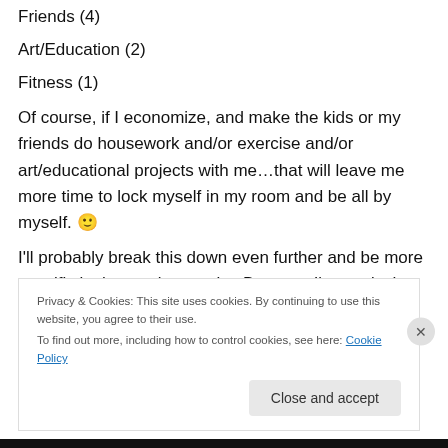Friends (4)
Art/Education (2)
Fitness (1)
Of course, if I economize, and make the kids or my friends do housework and/or exercise and/or art/educational projects with me…that will leave me more time to lock myself in my room and be all by myself. 🙂
I'll probably break this down even further and be more specific in the coming weeks. Because I'm nerdy that way.
Privacy & Cookies: This site uses cookies. By continuing to use this website, you agree to their use.
To find out more, including how to control cookies, see here: Cookie Policy